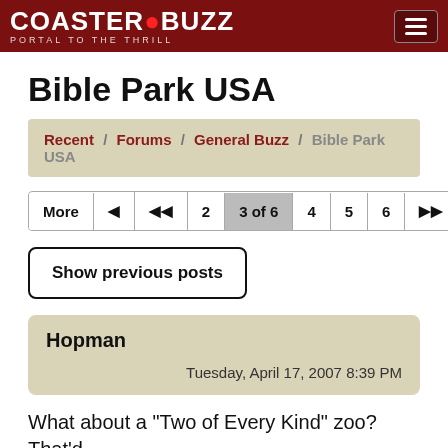CoasterBuzz — PORTAL TO THE THRILL
Bible Park USA
Recent / Forums / General Buzz / Bible Park USA
More | ◄ | ◄◄ | 2 | 3 of 6 | 4 | 5 | 6 | ►► | ►
Show previous posts
Hopman
Tuesday, April 17, 2007 8:39 PM
What about a "Two of Every Kind" zoo? That'd blow people away.